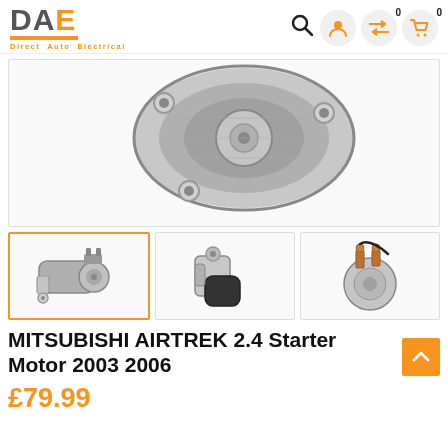DAE Direct Auto Electrical
[Figure (photo): Close-up photo of a starter motor component, showing the gear/mounting flange end, silver metallic finish, on white background]
[Figure (photo): Thumbnail 1: Full starter motor, side view, silver and black, selected (orange border)]
[Figure (photo): Thumbnail 2: Full starter motor, front/side view, silver and black]
[Figure (photo): Thumbnail 3: Starter motor solenoid end view, silver with copper terminals]
MITSUBISHI AIRTREK 2.4 Starter Motor 2003 2006
£79.99